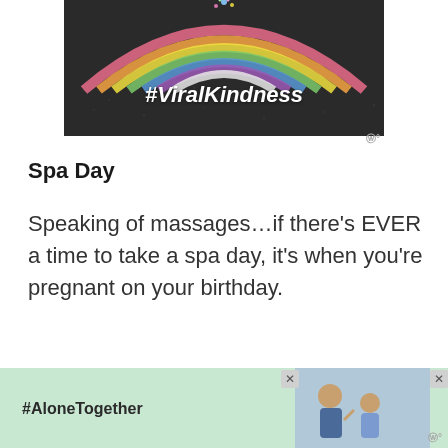[Figure (photo): Chalk rainbow art on dark asphalt with #ViralKindness text in white bold italic]
Spa Day
Speaking of massages…if there’s EVER a time to take a spa day, it’s when you’re pregnant on your birthday.
[Figure (photo): Advertisement banner with green background showing #AloneTogether hashtag and photo of man and child waving]